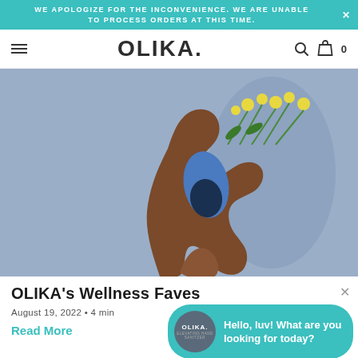WE APOLOGIZE FOR THE INCONVENIENCE. WE ARE UNABLE TO PROCESS ORDERS AT THIS TIME.
OLIKA.
[Figure (photo): A dark-skinned hand holding a blue wellness product (massage tool) along with yellow flowers against a light blue background.]
OLIKA's Wellness Faves
August 19, 2022 • 4 min
Read More
Hello, luv! What are you looking for today?